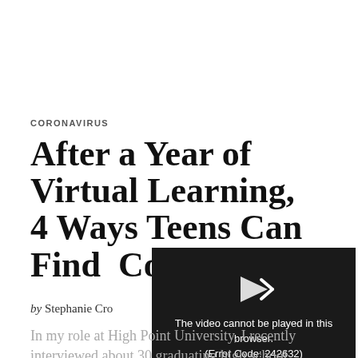CORONAVIRUS
After a Year of Virtual Learning, 4 Ways Teens Can Find … College
by Stephanie Cro…
[Figure (screenshot): Video player showing error message: The video cannot be played in this browser. (Error Code: 242632)]
In my role at High Point University, I recently interviewed about 30 graduating high school